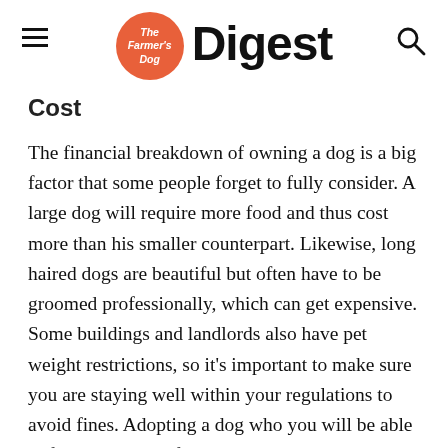The Farmer's Dog Digest
Cost
The financial breakdown of owning a dog is a big factor that some people forget to fully consider. A large dog will require more food and thus cost more than his smaller counterpart. Likewise, long haired dogs are beautiful but often have to be groomed professionally, which can get expensive. Some buildings and landlords also have pet weight restrictions, so it's important to make sure you are staying well within your regulations to avoid fines. Adopting a dog who you will be able to financially care for